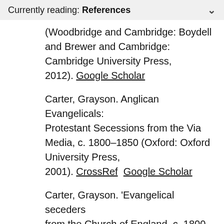Currently reading: References
(Woodbridge and Cambridge: Boydell and Brewer and Cambridge: Cambridge University Press, 2012). Google Scholar
Carter, Grayson. Anglican Evangelicals: Protestant Secessions from the Via Media, c. 1800–1850 (Oxford: Oxford University Press, 2001). CrossRef  Google Scholar
Carter, Grayson. 'Evangelical seceders from the Church of England, c. 1800–55.' (unpubl. DPhil thesis, Oxford, 1990). Google Scholar
The Case of the Rev. Mr. Shore: A